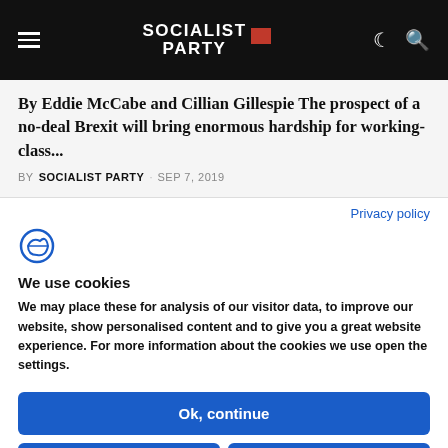Socialist Party — website header with navigation
By Eddie McCabe and Cillian Gillespie The prospect of a no-deal Brexit will bring enormous hardship for working-class...
BY SOCIALIST PARTY · SEP 7, 2019
Privacy policy
We use cookies
We may place these for analysis of our visitor data, to improve our website, show personalised content and to give you a great website experience. For more information about the cookies we use open the settings.
Ok, continue
Deny
No, adjust